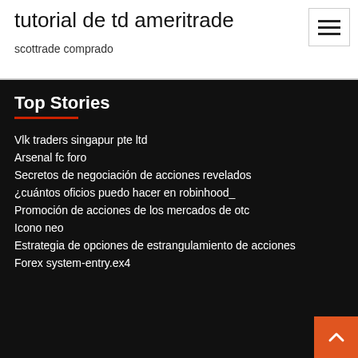tutorial de td ameritrade
scottrade comprado
Top Stories
Vlk traders singapur pte ltd
Arsenal fc foro
Secretos de negociación de acciones revelados
¿cuántos oficios puedo hacer en robinhood_
Promoción de acciones de los mercados de otc
Icono neo
Estrategia de opciones de estrangulamiento de acciones
Forex system-entry.ex4